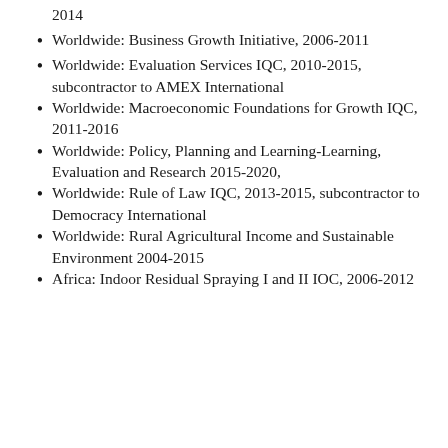2014
Worldwide: Business Growth Initiative, 2006-2011
Worldwide:  Evaluation Services IQC, 2010-2015, subcontractor to AMEX International
Worldwide: Macroeconomic Foundations for Growth IQC, 2011-2016
Worldwide: Policy, Planning and Learning-Learning, Evaluation and Research 2015-2020,
Worldwide: Rule of Law IQC, 2013-2015, subcontractor to Democracy International
Worldwide:  Rural Agricultural Income and Sustainable Environment 2004-2015
Africa: Indoor Residual Spraying I and II IOC, 2006-2012